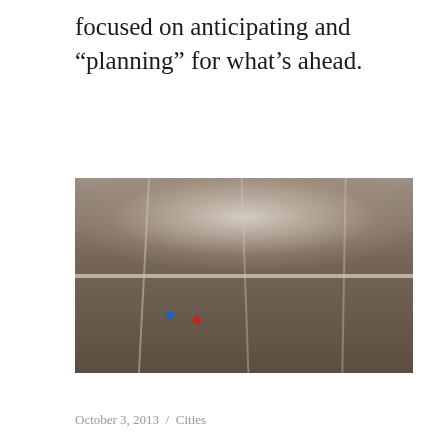focused on anticipating and “planning” for what’s ahead.
[Figure (photo): Aerial photograph of a dense informal settlement or city, taken from above, showing packed buildings with narrow dirt roads weaving between them. A bright horizontal road cuts across the middle. The image has a hazy, dusty atmosphere. A few colored structures (blue, red) are visible in the lower portion.]
October 3, 2013  /  Cities